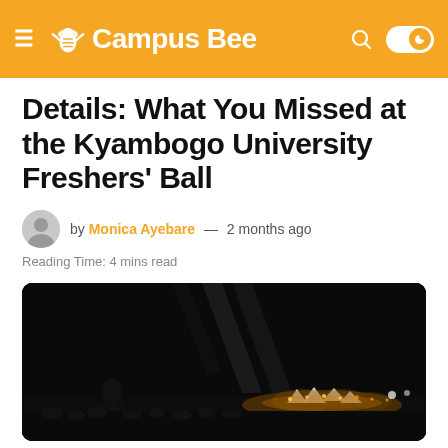Campus Bee
Details: What You Missed at the Kyambogo University Freshers' Ball
by Monica Ayebare — 2 months ago
Reading Time: 4 mins read
[Figure (photo): Night concert scene at Kyambogo University Freshers' Ball, showing a performer on stage with crowd, tents, and stage lights in the dark background]